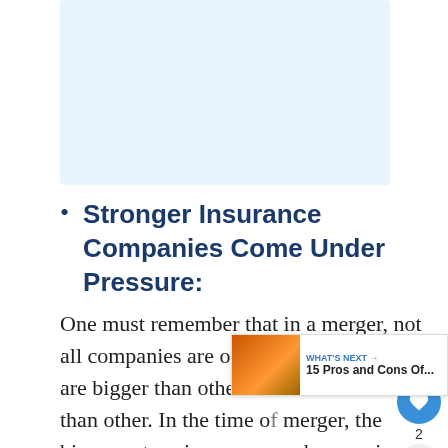[Figure (photo): Light blue image placeholder at top of page]
Stronger Insurance Companies Come Under Pressure:
One must remember that in a merger, not all companies are of equal status. Some are bigger than others and function better than other. In the time of merger, the bigger enterprises come under massive pressure in making up for the smaller enterprises which not be able to function very efficiently when being merged.